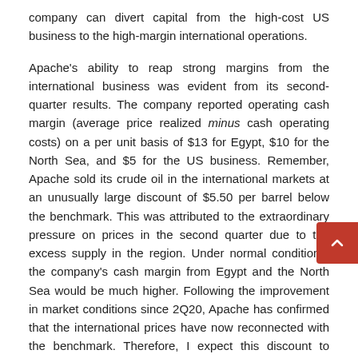company can divert capital from the high-cost US business to the high-margin international operations.
Apache's ability to reap strong margins from the international business was evident from its second-quarter results. The company reported operating cash margin (average price realized minus cash operating costs) on a per unit basis of $13 for Egypt, $10 for the North Sea, and $5 for the US business. Remember, Apache sold its crude oil in the international markets at an unusually large discount of $5.50 per barrel below the benchmark. This was attributed to the extraordinary pressure on prices in the second quarter due to the excess supply in the region. Under normal conditions, the company's cash margin from Egypt and the North Sea would be much higher. Following the improvement in market conditions since 2Q20, Apache has confirmed that the international prices have now reconnected with the benchmark. Therefore, I expect this discount to normalize from 3Q20.
2Q 2020 Operating Cash Margins